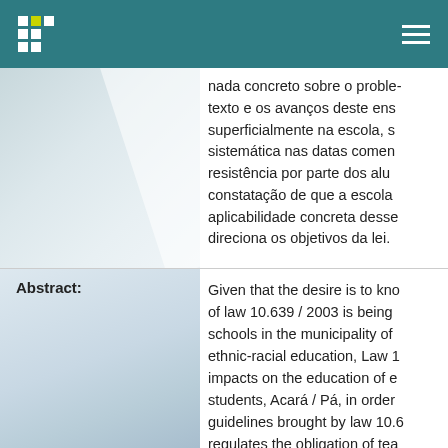nada concreto sobre o problema, o con-texto e os avanços deste ensino tratado superficialmente na escola, s sistemática nas datas comen resistência por parte dos alu constatação de que a escola aplicabilidade concreta desse direciona os objetivos da lei.
Abstract: Given that the desire is to know how the implementation of law 10.639 / 2003 is being schools in the municipality of ethnic-racial education, Law 1 impacts on the education of e students, Acará / Pá, in order guidelines brought by law 10.6 regulates the obligation of tea history and culture, specifical school. To this end, it is neces